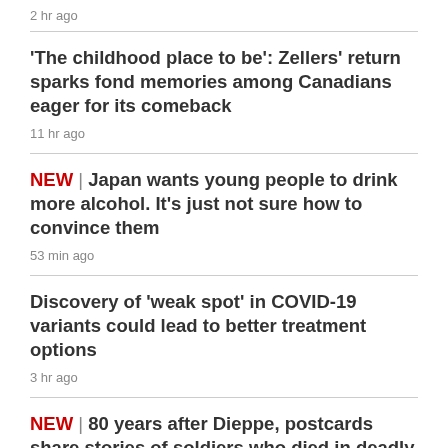2 hr ago
'The childhood place to be': Zellers' return sparks fond memories among Canadians eager for its comeback
11 hr ago
NEW | Japan wants young people to drink more alcohol. It's just not sure how to convince them
53 min ago
Discovery of 'weak spot' in COVID-19 variants could lead to better treatment options
3 hr ago
NEW | 80 years after Dieppe, postcards share stories of soldiers who died in deadly raid
50 min ago